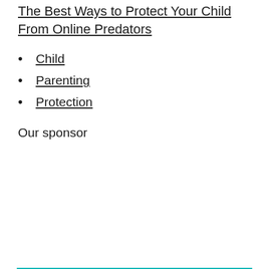The Best Ways to Protect Your Child From Online Predators
Child
Parenting
Protection
Our sponsor